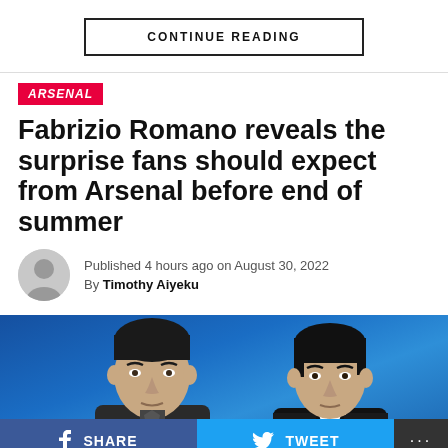CONTINUE READING
ARSENAL
Fabrizio Romano reveals the surprise fans should expect from Arsenal before end of summer
Published 4 hours ago on August 30, 2022
By Timothy Aiyeku
[Figure (photo): Two men in suits/jackets against a blue background — likely Arsenal manager Mikel Arteta and another person]
SHARE
TWEET